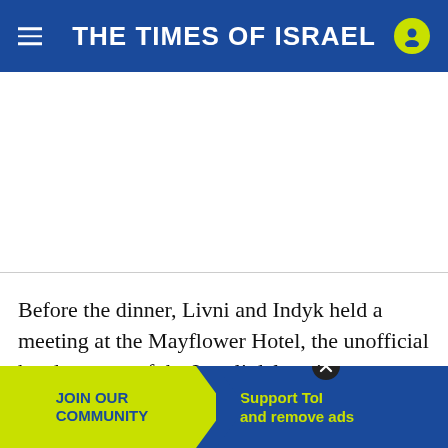THE TIMES OF ISRAEL
[Figure (photo): Article image area (white/empty, below header)]
Before the dinner, Livni and Indyk held a meeting at the Mayflower Hotel, the unofficial headquarters of the Israeli delegation.
[Figure (infographic): Ad banner: JOIN OUR COMMUNITY | Support ToI and remove ads]